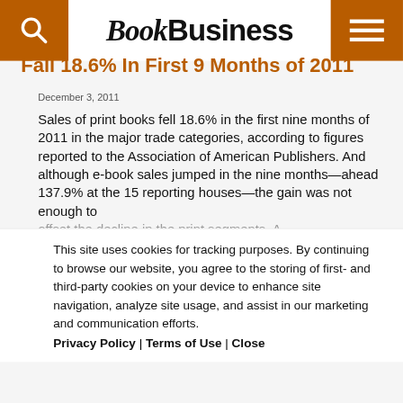BookBusiness
Fall 18.6% In First 9 Months of 2011
December 3, 2011
Sales of print books fell 18.6% in the first nine months of 2011 in the major trade categories, according to figures reported to the Association of American Publishers. And although e-book sales jumped in the nine months—ahead 137.9% at the 15 reporting houses—the gain was not enough to offset the decline in the print segments. A...
This site uses cookies for tracking purposes. By continuing to browse our website, you agree to the storing of first- and third-party cookies on your device to enhance site navigation, analyze site usage, and assist in our marketing and communication efforts. Privacy Policy | Terms of Use | Close